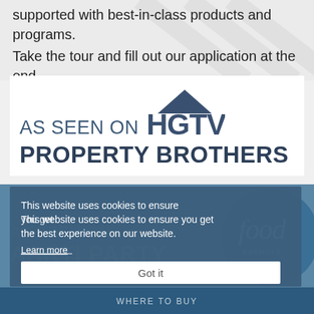supported with best-in-class products and programs. Take the tour and fill out our application at the end.
[Figure (logo): AS SEEN ON HGTV PROPERTY BROTHERS logo card on white background]
[Figure (screenshot): Cookie consent overlay with text: This website uses cookies to ensure you get the best experience on our website. Learn more. Got it button. Below shows Food Network logo circle and AS SEEN ON AARTI PARTY text. WHERE TO BUY bar at bottom.]